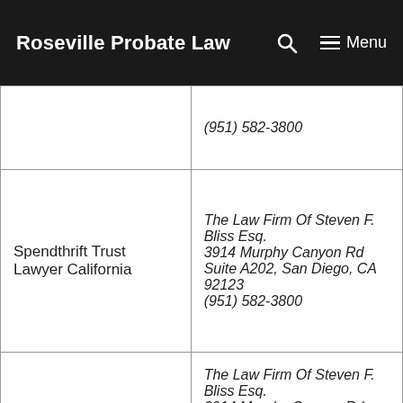Roseville Probate Law
|  | (951) 582-3800 |
| Spendthrift Trust Lawyer California | The Law Firm Of Steven F. Bliss Esq.
3914 Murphy Canyon Rd Suite A202, San Diego, CA 92123
(951) 582-3800 |
| Spendthrift Trust Trust Lawyer | The Law Firm Of Steven F. Bliss Esq.
3914 Murphy Canyon Rd Suite A202, San Diego, CA 92123 |